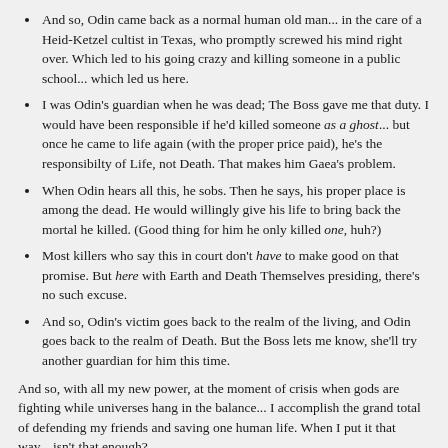And so, Odin came back as a normal human old man... in the care of a Heid-Ketzel cultist in Texas, who promptly screwed his mind right over. Which led to his going crazy and killing someone in a public school... which led us here.
I was Odin's guardian when he was dead; The Boss gave me that duty. I would have been responsible if he'd killed someone as a ghost... but once he came to life again (with the proper price paid), he's the responsibilty of Life, not Death. That makes him Gaea's problem.
When Odin hears all this, he sobs. Then he says, his proper place is among the dead. He would willingly give his life to bring back the mortal he killed. (Good thing for him he only killed one, huh?)
Most killers who say this in court don't have to make good on that promise. But here with Earth and Death Themselves presiding, there's no such excuse.
And so, Odin's victim goes back to the realm of the living, and Odin goes back to the realm of Death. But the Boss lets me know, she'll try another guardian for him this time.
And so, with all my new power, at the moment of crisis when gods are fighting while universes hang in the balance... I accomplish the grand total of defending my friends and saving one human life. When I put it that way... isn't that enough?